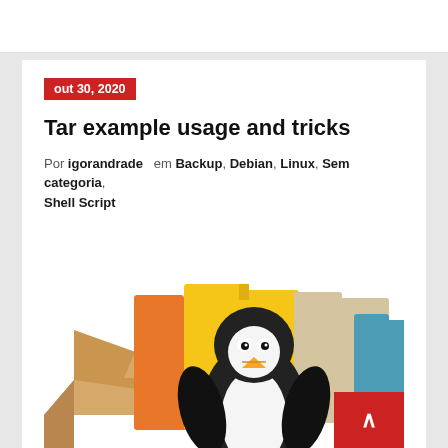out 30, 2020
Tar example usage and tricks
Por igorandrade em Backup, Debian, Linux, Sem categoria, Shell Script
[Figure (illustration): Illustration of an open cardboard box labeled 'tar' and 'gz' with a Tux Linux penguin and colorful folders inside, representing tar.gz archive usage]